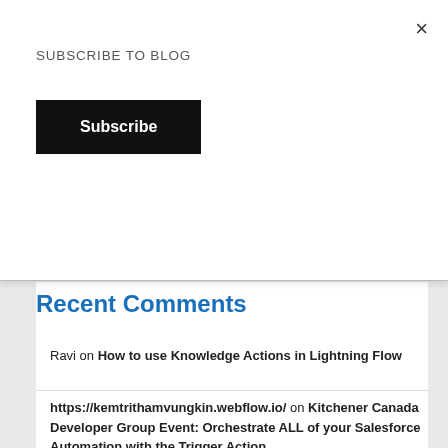SUBSCRIBE TO BLOG
Subscribe
×
Recent Comments
Ravi on How to use Knowledge Actions in Lightning Flow
https://kemtrithamvungkin.webflow.io/ on Kitchener Canada Developer Group Event: Orchestrate ALL of your Salesforce Automation with the Trigger Action